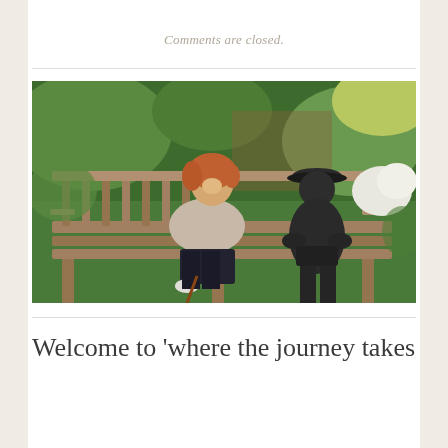Comments are closed.
[Figure (photo): A smiling woman with red/auburn hair sits on a wooden garden bench next to a dark bronze statue of a seated figure wearing a hat. Lush green garden foliage and a brick wall are visible in the background.]
Welcome to 'where the journey takes